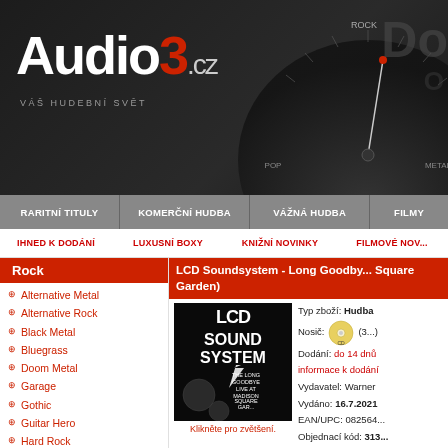[Figure (screenshot): Audio3.cz website header with logo, gauge/dial graphic, and navigation bars showing music categories]
Audio3.cz VÁŠ HUDEBNÍ SVĚT
RARITNÍ TITULY
KOMERČNÍ HUDBA
VÁŽNÁ HUDBA
FILMY
IHNED K DODÁNÍ
LUXUSNÍ BOXY
KNIŽNÍ NOVINKY
FILMOVÉ NOV...
Rock
Alternative Metal
Alternative Rock
Black Metal
Bluegrass
Doom Metal
Garage
Gothic
Guitar Hero
Hard Rock
Hardcore
Heavy Metal
Industrial
Krautrock
Progressive
LCD Soundsystem - Long Goodbye (Live at Madison Square Garden)
[Figure (photo): LCD Soundsystem album cover - The Long Goodbye, Live at Madison Square Garden, black background with white text]
Klikněte pro zvětšení.
Typ zboží: Hudba
Nosič: CD (3...)
Dodání: do 14 dnů informace k dodání
Vydavatel: Warner
Vydáno: 16.7.2021
EAN/UPC: 082564...
Objednací kód: 313...
Běžná cena: 899 K
Naše cena: 791 K
Ušetříte: 108 Kč (1...